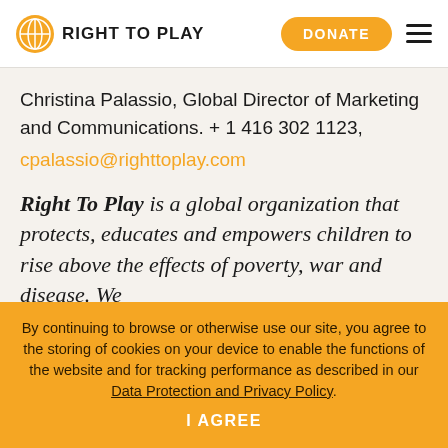Right To Play | DONATE
Christina Palassio, Global Director of Marketing and Communications. + 1 416 302 1123, cpalassio@righttoplay.com
Right To Play is a global organization that protects, educates and empowers children to rise above the effects of poverty, war and disease. We
By continuing to browse or otherwise use our site, you agree to the storing of cookies on your device to enable the functions of the website and for tracking performance as described in our Data Protection and Privacy Policy.
I AGREE